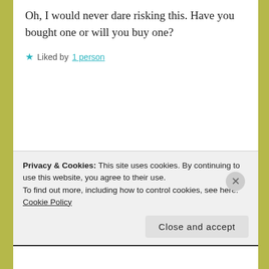Oh, I would never dare risking this. Have you bought one or will you buy one?
Liked by 1 person
FORESTWOOD
February 24, 2021 at 8:50 pm
I would like to get a hive, but it is a
Privacy & Cookies: This site uses cookies. By continuing to use this website, you agree to their use.
To find out more, including how to control cookies, see here: Cookie Policy
Close and accept